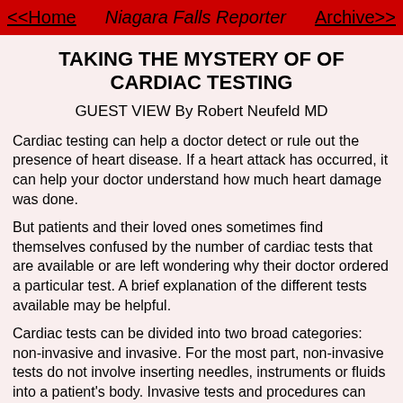<<Home   Niagara Falls Reporter   Archive>>
TAKING THE MYSTERY OF OF CARDIAC TESTING
GUEST VIEW By Robert Neufeld MD
Cardiac testing can help a doctor detect or rule out the presence of heart disease. If a heart attack has occurred, it can help your doctor understand how much heart damage was done.
But patients and their loved ones sometimes find themselves confused by the number of cardiac tests that are available or are left wondering why their doctor ordered a particular test. A brief explanation of the different tests available may be helpful.
Cardiac tests can be divided into two broad categories: non-invasive and invasive. For the most part, non-invasive tests do not involve inserting needles, instruments or fluids into a patient's body. Invasive tests and procedures can range from a simple needle stick for a blood test to the insertion of a tube, device or scope to major surgeries such as open-heat